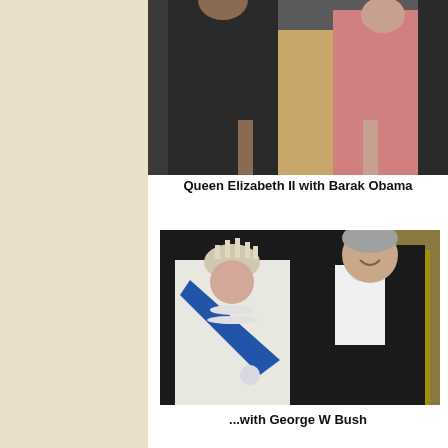[Figure (photo): Photo of Queen Elizabeth II with Barack Obama, partially visible at top of page — two figures standing, one in dark suit, one in pink dress]
Queen Elizabeth II with Barak Obama
[Figure (photo): Photo of Queen Elizabeth II wearing tiara, pearl necklace and blue sash, standing with George W Bush in black tie formal wear]
...with George W Bush